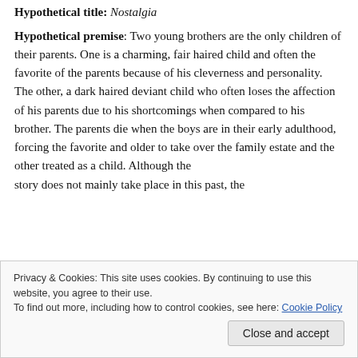Hypothetical title: Nostalgia
Hypothetical premise: Two young brothers are the only children of their parents. One is a charming, fair haired child and often the favorite of the parents because of his cleverness and personality. The other, a dark haired deviant child who often loses the affection of his parents due to his shortcomings when compared to his brother. The parents die when the boys are in their early adulthood, forcing the favorite and older to take over the family estate and the other treated as a child. Although the story does not mainly take place in this past, the
Privacy & Cookies: This site uses cookies. By continuing to use this website, you agree to their use.
To find out more, including how to control cookies, see here: Cookie Policy
Close and accept